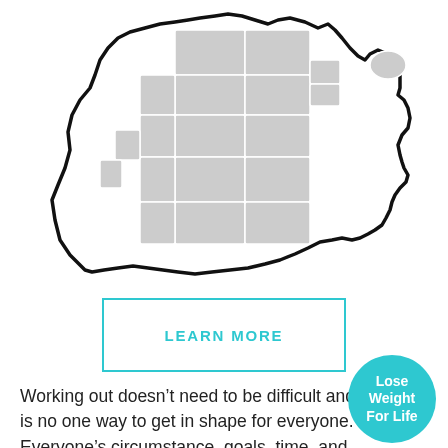[Figure (map): Geographic map showing county/district boundaries in a region, with gray-filled subdivisions outlined in light gray and a thick black outer boundary line. Appears to show the Taylorsville area region.]
LEARN MORE
Working out doesn't need to be difficult and there is no one way to get in shape for everyone. Everyone's circumstance, goals, time, and genetics are diffe... Modern Fit we've brought together personal tr... and around Taylorsville that are focused on hel... achieve your fitness goals. Along with a comprehensive coaching routine, our personal trainers will provide eating
[Figure (infographic): Teal circular badge with white text reading 'Lose Weight For Life']